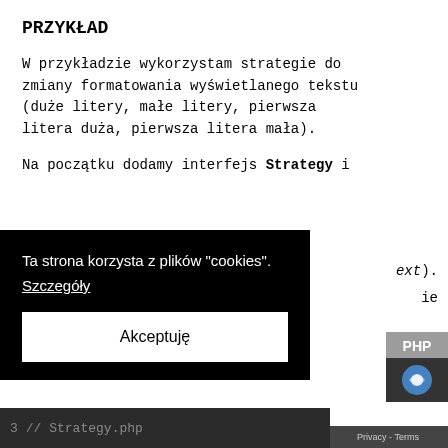PRZYKŁAD
W przykładzie wykorzystam strategie do zmiany formatowania wyświetlanego tekstu (duże litery, małe litery, pierwsza litera duża, pierwsza litera mała).
Na początku dodamy interfejs Strategy i
Cookie overlay: Ta strona korzysta z plików "cookies". Szczegóły. Akceptuję button.
[Figure (screenshot): PHP badge and reCAPTCHA icon visible on right side]
3  // Strategy.php